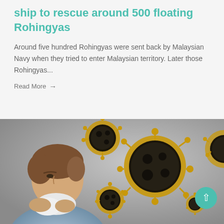ship to rescue around 500 floating Rohingyas
Around five hundred Rohingyas were sent back by Malaysian Navy when they tried to enter Malaysian territory. Later those Rohingyas...
Read More →
[Figure (photo): Photo of a man sneezing into a tissue with 3D rendered coronavirus particles in the background against a grey background. A teal scroll-to-top button with an upward arrow is overlaid in the bottom right corner.]